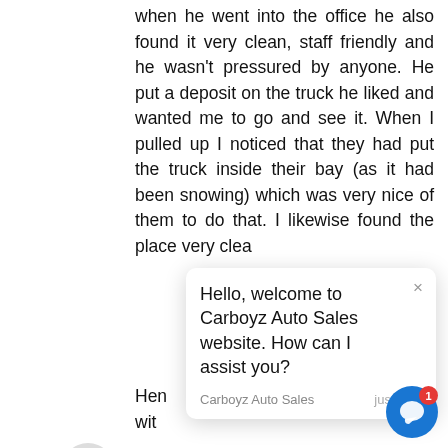when he went into the office he also found it very clean, staff friendly and he wasn't pressured by anyone. He put a deposit on the truck he liked and wanted me to go and see it. When I pulled up I noticed that they had put the truck inside their bay (as it had been snowing) which was very nice of them to do that. I likewise found the place very clea... Hen... with... nd
[Figure (screenshot): Chat popup overlay from Carboyz Auto Sales website with message: Hello, welcome to Carboyz Auto Sales website. How can I assist you? Sender: Carboyz Auto Sales, just now. Close button (×) in top right.]
Cynthia Reid
Write a reply..
Google Reviews ★★★★★ Had a great experience purchasing my 2005 Mazda3. Vicky was very helpf... and was able to provide important honest de... Found a small electrical issue a few days later (e... to miss!) and they were able to get me into the
[Figure (screenshot): Blue chat bubble button with notification badge showing 1 in bottom right corner]